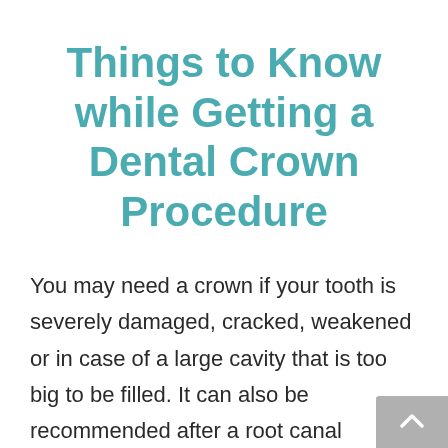Things to Know while Getting a Dental Crown Procedure
You may need a crown if your tooth is severely damaged, cracked, weakened or in case of a large cavity that is too big to be filled. It can also be recommended after a root canal treatment as they become too